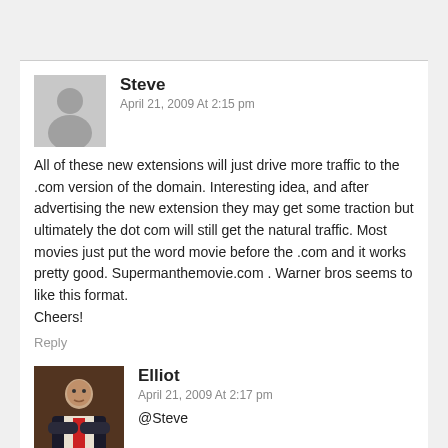[Figure (photo): Gray silhouette avatar placeholder for user Steve]
Steve
April 21, 2009 At 2:15 pm
All of these new extensions will just drive more traffic to the .com version of the domain. Interesting idea, and after advertising the new extension they may get some traction but ultimately the dot com will still get the natural traffic. Most movies just put the word movie before the .com and it works pretty good. Supermanthemovie.com . Warner bros seems to like this format.
Cheers!
Reply
[Figure (photo): Photo of Elliot - man in dark suit with arms crossed against brick background]
Elliot
April 21, 2009 At 2:17 pm
@Steve